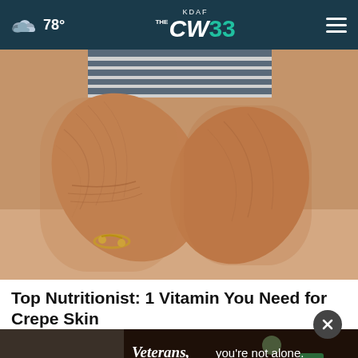78° KDAF CW 33
[Figure (photo): Close-up photo of elderly person's arms resting on a surface, showing wrinkled skin and a gold bracelet, with a striped shirt visible in the background.]
Top Nutritionist: 1 Vitamin You Need for Crepe Skin
Dr. Kelly Ann
[Figure (photo): Advertisement banner showing 'Veterans, you're not alone.' with an image of a veteran.]